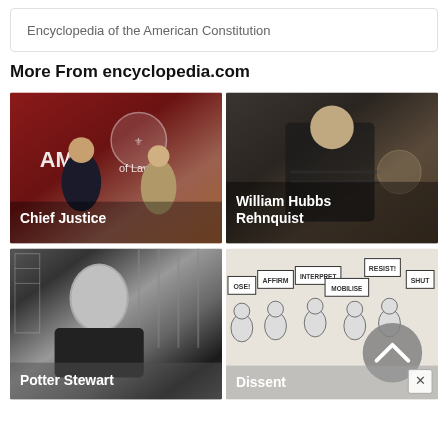Encyclopedia of the American Constitution
More From encyclopedia.com
[Figure (photo): Two men in suits at a law school event with a maroon background and university seal; caption reads Chief Justice]
[Figure (photo): Painted portrait of a man in judicial robes; caption reads William Hubbs Rehnquist]
[Figure (photo): Black and white portrait photograph of a man in judicial robes in front of bookshelves; caption reads Potter Stewart]
[Figure (illustration): Cartoon illustration of figures holding signs reading OSE, AFFIRM, INTERPRET, MOBILISE, RESIST!, SHUT with a chevron/up-arrow circle overlay; caption reads Dissent]